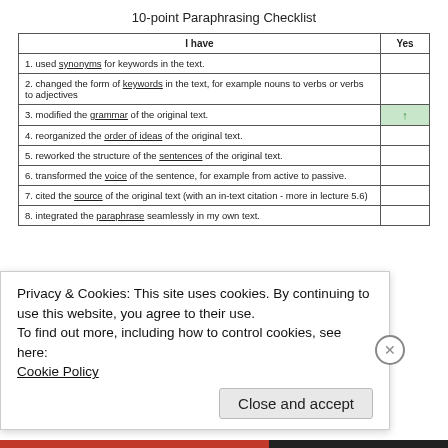10-point Paraphrasing Checklist
| I have | Yes |
| --- | --- |
| 1. used synonyms for keywords in the text. |  |
| 2. changed the form of keywords in the text, for example nouns to verbs or verbs to adjectives |  |
| 3. modified the grammar of the original text. | ↑ |
| 4. reorganized the order of ideas of the original text. |  |
| 5. reworked the structure of the sentences of the original text. |  |
| 6. transformed the voice of the sentence, for example from active to passive. |  |
| 7. cited the source of the original text (with an in-text citation - more in lecture 5.6) |  |
| 8. integrated the paraphrase seamlessly in my own text. |  |
Privacy & Cookies: This site uses cookies. By continuing to use this website, you agree to their use.
To find out more, including how to control cookies, see here:
Cookie Policy
Close and accept